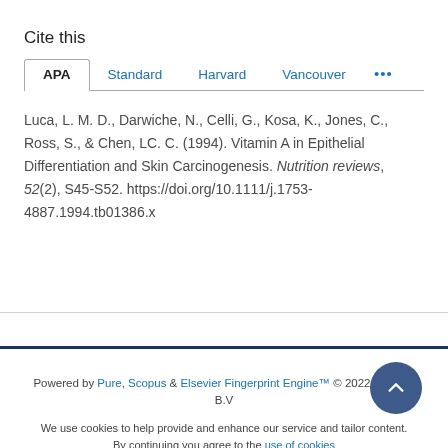Cite this
APA | Standard | Harvard | Vancouver | ...
Luca, L. M. D., Darwiche, N., Celli, G., Kosa, K., Jones, C., Ross, S., & Chen, LC. C. (1994). Vitamin A in Epithelial Differentiation and Skin Carcinogenesis. Nutrition reviews, 52(2), S45-S52. https://doi.org/10.1111/j.1753-4887.1994.tb01386.x
Powered by Pure, Scopus & Elsevier Fingerprint Engine™ © 2022 Elsevier B.V
We use cookies to help provide and enhance our service and tailor content. By continuing you agree to the use of cookies